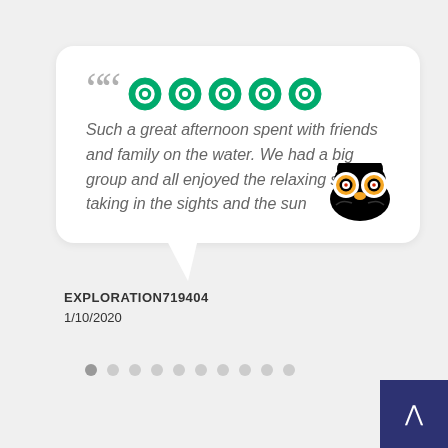[Figure (infographic): TripAdvisor review card with speech bubble shape, 5 green circle stars, quotation marks, review text, TripAdvisor owl logo, reviewer name EXPLORATION719404, date 1/10/2020, pagination dots, and a navy back-to-top button]
Such a great afternoon spent with friends and family on the water. We had a big group and all enjoyed the relaxing sail taking in the sights and the sun
EXPLORATION719404
1/10/2020